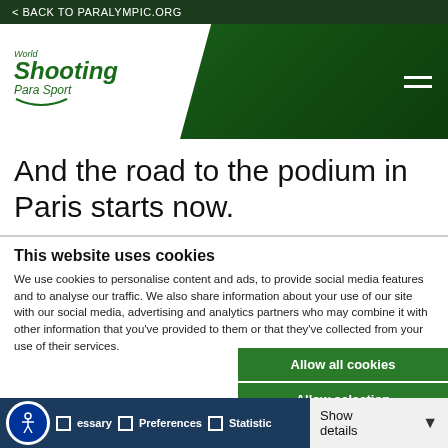< BACK TO PARALYMPIC.ORG
[Figure (logo): World Shooting Para Sport logo on white angled banner over dark green header with hamburger menu icon]
And the road to the podium in Paris starts now.
This website uses cookies
We use cookies to personalise content and ads, to provide social media features and to analyse our traffic. We also share information about your use of our site with our social media, advertising and analytics partners who may combine it with other information that you've provided to them or that they've collected from your use of their services.
Allow all cookies
Allow selection
Use necessary cookies only
Necessary  Preferences  Statistics  Marketing  Show details